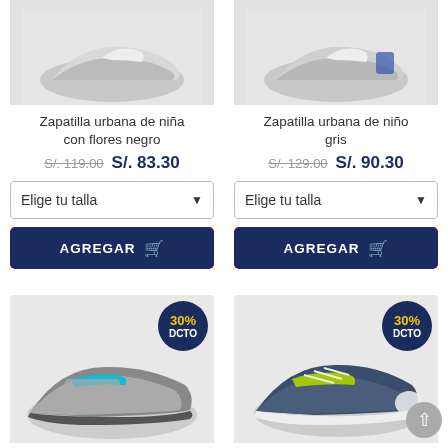[Figure (photo): Zapatilla urbana de niña con flores negro - shoe product image top cropped]
[Figure (photo): Zapatilla urbana de niño gris - shoe product image top cropped]
Zapatilla urbana de niña con flores negro
Zapatilla urbana de niño gris
S/. 119.00  S/. 83.30
S/. 129.00  S/. 90.30
Elige tu talla
Elige tu talla
AGREGAR
AGREGAR
[Figure (photo): Children's sneaker gray and cyan with velcro strap, 30% DCTO badge]
[Figure (photo): Children's sneaker navy and yellow-green lace-up, 30% DCTO badge]